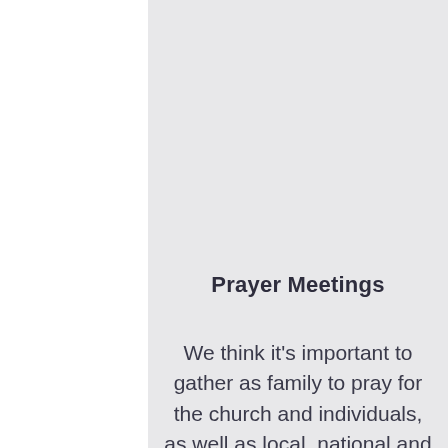Prayer Meetings
We think it's important to gather as family to pray for the church and individuals, as well as local, national and